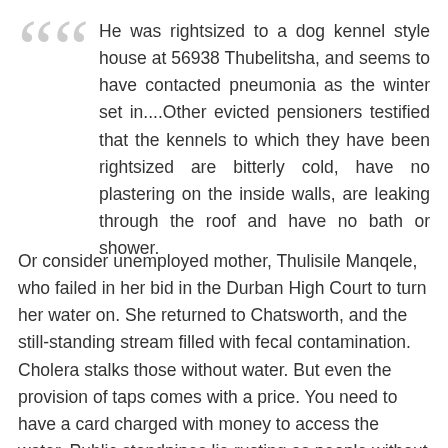He was rightsized to a dog kennel style house at 56938 Thubelitsha, and seems to have contacted pneumonia as the winter set in....Other evicted pensioners testified that the kennels to which they have been rightsized are bitterly cold, have no plastering on the inside walls, are leaking through the roof and have no bath or shower.
Or consider unemployed mother, Thulisile Manqele, who failed in her bid in the Durban High Court to turn her water on. She returned to Chatsworth, and the still-standing stream filled with fecal contamination. Cholera stalks those without water. But even the provision of taps comes with a price. You need to have a card charged with money to access the water. Public standpipes lie rusting as people without cash make their way to the river. Government functionaries and